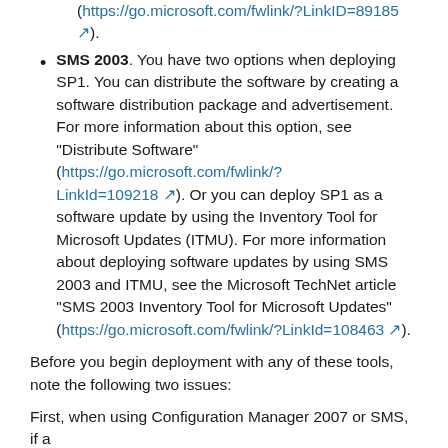(https://go.microsoft.com/fwlink/?LinkID=89185 ↗).
SMS 2003. You have two options when deploying SP1. You can distribute the software by creating a software distribution package and advertisement. For more information about this option, see "Distribute Software" (https://go.microsoft.com/fwlink/?LinkId=109218 ↗). Or you can deploy SP1 as a software update by using the Inventory Tool for Microsoft Updates (ITMU). For more information about deploying software updates by using SMS 2003 and ITMU, see the Microsoft TechNet article "SMS 2003 Inventory Tool for Microsoft Updates" (https://go.microsoft.com/fwlink/?LinkId=108463 ↗).
Before you begin deployment with any of these tools, note the following two issues:
First, when using Configuration Manager 2007 or SMS, if a